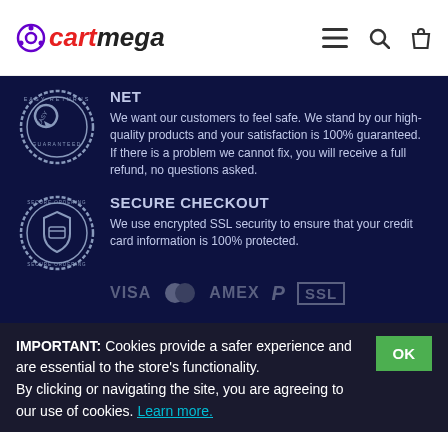cartmega
[Figure (illustration): Easy Returns circular badge/seal in silver/grey]
NET
We want our customers to feel safe. We stand by our high-quality products and your satisfaction is 100% guaranteed. If there is a problem we cannot fix, you will receive a full refund, no questions asked.
[Figure (illustration): Secure Ordering circular badge/seal in silver/grey]
SECURE CHECKOUT
We use encrypted SSL security to ensure that your credit card information is 100% protected.
[Figure (illustration): Payment icons: VISA, Mastercard, AMEX, PayPal, SSL]
IMPORTANT: Cookies provide a safer experience and are essential to the store's functionality. By clicking or navigating the site, you are agreeing to our use of cookies. Learn more.